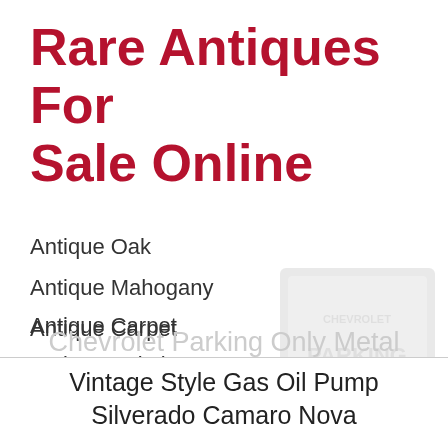Rare Antiques For Sale Online
Antique Oak
Antique Mahogany
Antique Carpet
Antique Painting
Antique Glass
Antique Plate
[Figure (photo): Faded watermark image of a Chevrolet Parking Only metal sign]
Chevrolet Parking Only Metal
Vintage Style Gas Oil Pump Silverado Camaro Nova